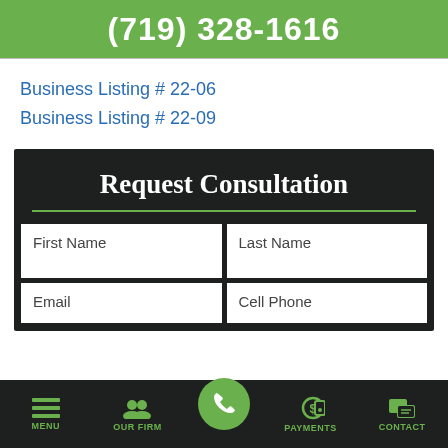(719) 328-1616
Business Listing # 22-06
Business Listing # 22-09
Request Consultation
First Name
Last Name
Email
Cell Phone
MENU   OUR FIRM   [phone]   PAYMENTS   CONTACT